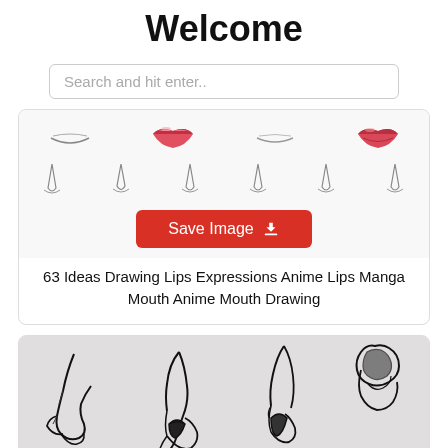Welcome
Search and hit enter..
[Figure (illustration): Grid of anime/manga mouth and lip drawings in various styles, some colored pink/red, plus a row of manga nose sketches. A red 'Save Image' button with download icon is overlaid on the image.]
63 Ideas Drawing Lips Expressions Anime Lips Manga Mouth Anime Mouth Drawing
[Figure (illustration): Pencil sketches of anime/manga facial features including noses and mouths from various angles, drawn in black ink on white/light gray paper.]